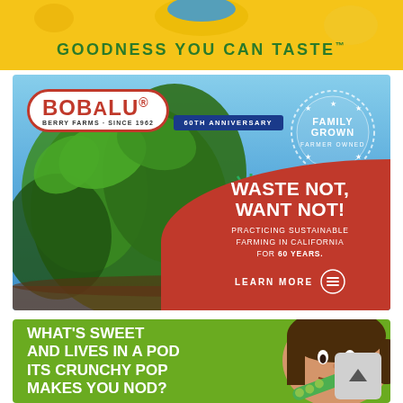[Figure (illustration): Top yellow banner with green text 'GOODNESS YOU CAN TASTE™']
[Figure (photo): BobAlu Berry Farms advertisement. Shows strawberry plants with ripe and unripe strawberries against a blue sky. BobAlu logo with '60th Anniversary' ribbon in top left. 'Family Grown Farmer Owned' badge in top right. Red curved section with text 'WASTE NOT, WANT NOT! PRACTICING SUSTAINABLE FARMING IN CALIFORNIA FOR 60 YEARS.' and a 'LEARN MORE' button.]
[Figure (photo): Green advertisement with white bold text 'WHAT'S SWEET AND LIVES IN A POD ITS CRUNCHY POP MAKES YOU NOD?' and a girl eating a green pea pod on the right side.]